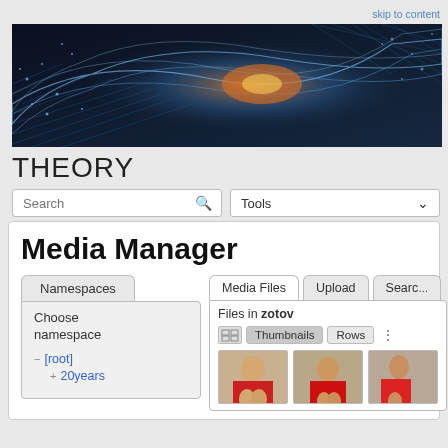skip to content
[Figure (photo): Dark abstract digital wave/ribbon technology banner image with glowing particles and geometric mesh on dark background with orange/white light center]
THEORY
Search
Tools
Media Manager
Namespaces
Media Files
Upload
Search
Choose namespace
Files in zotov
Thumbnails
Rows
− [root]
+ 20years
[Figure (photo): Thumbnail of a person in a red shirt at an event]
[Figure (photo): Thumbnail of a person with microphone at an event]
[Figure (photo): Thumbnail of a person at an event, partially visible]